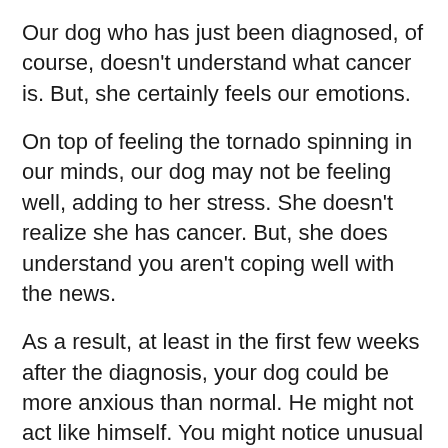Our dog who has just been diagnosed, of course, doesn’t understand what cancer is. But, she certainly feels our emotions.
On top of feeling the tornado spinning in our minds, our dog may not be feeling well, adding to her stress. She doesn’t realize she has cancer. But, she does understand you aren’t coping well with the news.
As a result, at least in the first few weeks after the diagnosis, your dog could be more anxious than normal. He might not act like himself. You might notice unusual pacing, excessive panting, and a feeling of uneasiness.